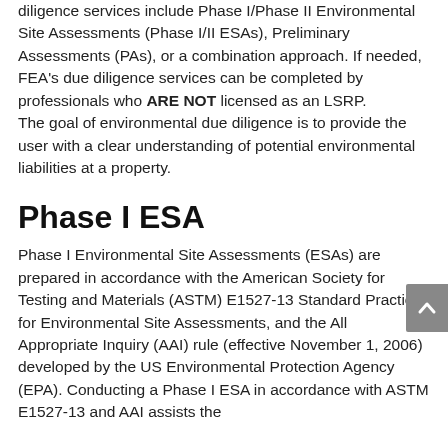diligence services include Phase I/Phase II Environmental Site Assessments (Phase I/II ESAs), Preliminary Assessments (PAs), or a combination approach. If needed, FEA's due diligence services can be completed by professionals who ARE NOT licensed as an LSRP. The goal of environmental due diligence is to provide the user with a clear understanding of potential environmental liabilities at a property.
Phase I ESA
Phase I Environmental Site Assessments (ESAs) are prepared in accordance with the American Society for Testing and Materials (ASTM) E1527-13 Standard Practice for Environmental Site Assessments, and the All Appropriate Inquiry (AAI) rule (effective November 1, 2006) developed by the US Environmental Protection Agency (EPA). Conducting a Phase I ESA in accordance with ASTM E1527-13 and AAI assists the